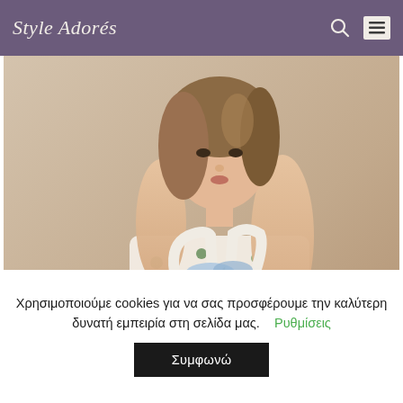Style Adorés
[Figure (photo): Fashion model holding a woven straw tote bag with cream/white stripe handles, wearing a floral dress, against a neutral background]
Χρησιμοποιούμε cookies για να σας προσφέρουμε την καλύτερη δυνατή εμπειρία στη σελίδα μας.    Ρυθμίσεις
Συμφωνώ